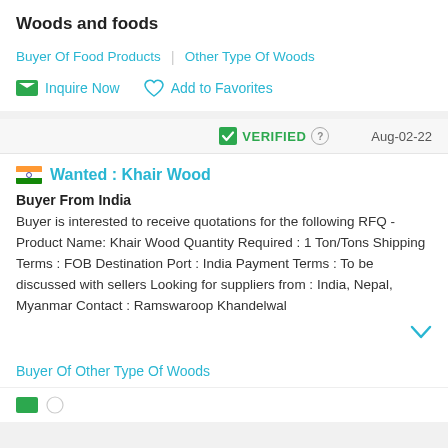Woods and foods
Buyer Of Food Products | Other Type Of Woods
Inquire Now   Add to Favorites
VERIFIED  Aug-02-22
Wanted : Khair Wood
Buyer From India
Buyer is interested to receive quotations for the following RFQ - Product Name: Khair Wood Quantity Required : 1 Ton/Tons Shipping Terms : FOB Destination Port : India Payment Terms : To be discussed with sellers Looking for suppliers from : India, Nepal, Myanmar Contact : Ramswaroop Khandelwal
Buyer Of Other Type Of Woods